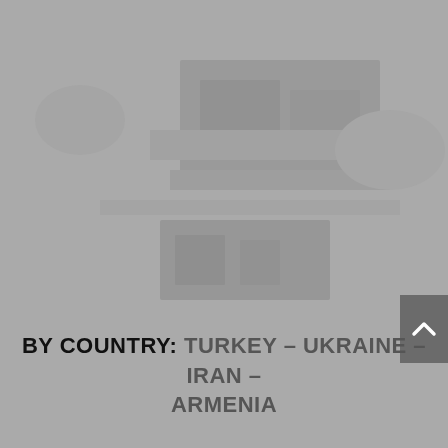[Figure (photo): A faded/washed-out photograph with gray tones, showing a landscape or architectural scene that is largely obscured by the gray overlay.]
BY COUNTRY: TURKEY – UKRAINE – IRAN – ARMENIA